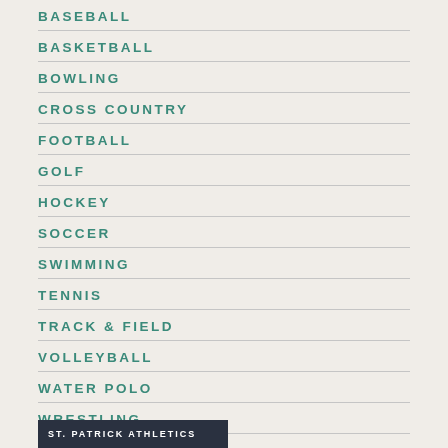BASEBALL
BASKETBALL
BOWLING
CROSS COUNTRY
FOOTBALL
GOLF
HOCKEY
SOCCER
SWIMMING
TENNIS
TRACK & FIELD
VOLLEYBALL
WATER POLO
WRESTLING
ST. PATRICK ATHLETICS